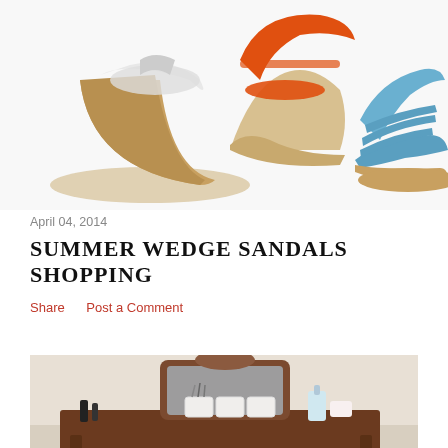[Figure (photo): Three women's wedge sandals on white background: white wedge, orange wedge, and blue suede strappy cork wedge]
April 04, 2014
SUMMER WEDGE SANDALS SHOPPING
Share    Post a Comment
[Figure (photo): Vintage wooden vanity dressing table with mirror, makeup brushes, toiletries and beauty products arranged on top]